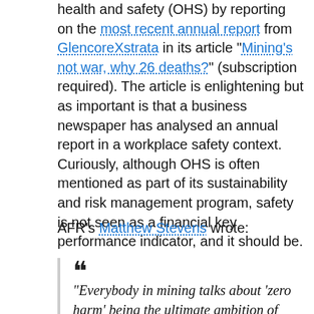health and safety (OHS) by reporting on the most recent annual report from GlencoreXstrata in its article "Mining's not war, why 26 deaths?" (subscription required). The article is enlightening but as important is that a business newspaper has analysed an annual report in a workplace safety context. Curiously, although OHS is often mentioned as part of its sustainability and risk management program, safety is not seen as a financial key performance indicator, and it should be.
AFR's Matthew Stevens wrote:
“Everybody in mining talks about ‘zero harm’ being the ultimate ambition of their health and safety programs. But talking safe and living safe are two different...